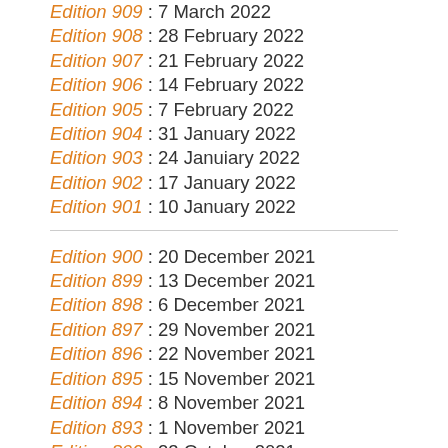Edition 909 : 7 March 2022
Edition 908 : 28 February 2022
Edition 907 : 21 February 2022
Edition 906 : 14 February 2022
Edition 905 : 7 February 2022
Edition 904 : 31 January 2022
Edition 903 : 24 Januiary 2022
Edition 902 : 17 January 2022
Edition 901 : 10 January 2022
Edition 900 : 20 December 2021
Edition 899 : 13 December 2021
Edition 898 : 6 December 2021
Edition 897 : 29 November 2021
Edition 896 : 22 November 2021
Edition 895 : 15 November 2021
Edition 894 : 8 November 2021
Edition 893 : 1 November 2021
Edition 892 : 23 October 2021
Edition 891 : 18 October 2021
Edition 890 : 11 October 2021
Edition 889 : 4 October 2021